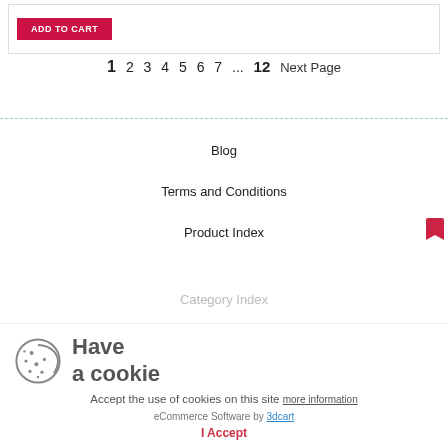[Figure (other): ADD TO CART button (red background, white bold text)]
1 2 3 4 5 6 7 ... 12 Next Page
Blog
Terms and Conditions
Product Index
Category Index
[Figure (illustration): Cookie consent popup with cookie icon, 'Have a cookie' heading, 'Accept the use of cookies on this site more information' text, eCommerce Software by 3dcart link, and 'I Accept' button]
eCommerce Software by 3dcart
I Accept